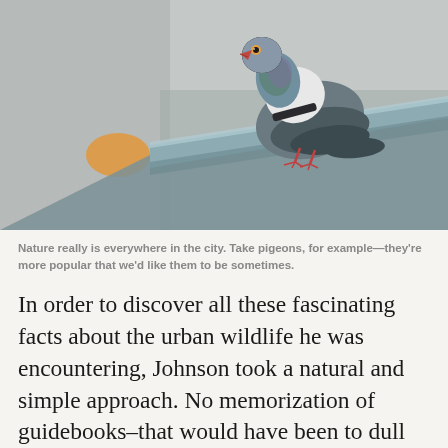[Figure (photo): Close-up photograph of a pigeon perched on a metal railing or ledge, viewed from the side. The pigeon has iridescent blue-green and purple neck feathers, a white and black patterned back, and a pink-red beak. The background is blurred with a pale grey and yellow-orange object out of focus.]
Nature really is everywhere in the city. Take pigeons, for example—they're more popular that we'd like them to be sometimes.
In order to discover all these fascinating facts about the urban wildlife he was encountering, Johnson took a natural and simple approach. No memorization of guidebooks–that would have been to dull and uninspiring. Instead, he opened his eyes a little wider to the nature that